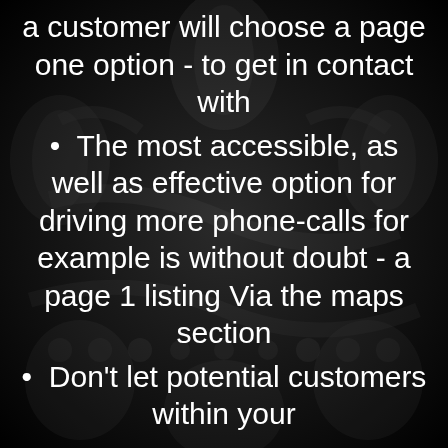a customer will choose a page one option - to get in contact with
The most accessible, as well as effective option for driving more phone-calls for example is without doubt - a page 1 listing Via the maps section
Don't let potential customers within your